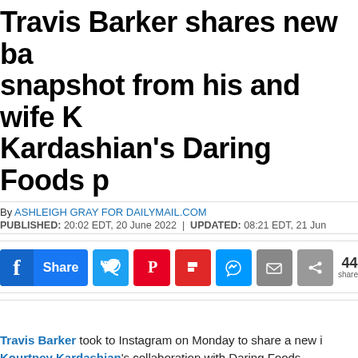Travis Barker shares new ba snapshot from his and wife K Kardashian's Daring Foods p
By ASHLEIGH GRAY FOR DAILYMAIL.COM
PUBLISHED: 20:02 EDT, 20 June 2022 | UPDATED: 08:21 EDT, 21 Jun
[Figure (infographic): Social media share buttons: Facebook Share, Twitter, Pinterest, Flipboard, Messenger, Email, Share, with count 44 shares]
Travis Barker took to Instagram on Monday to share a new i Kourtney Kardashian's collaboration with Daring Foods.
The latest outtake features the newly married couple, 46 and together.
The Blink-182 drummer chugs from a champagne bottle whi